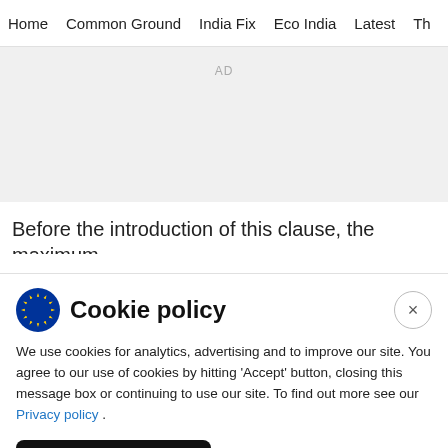Home  Common Ground  India Fix  Eco India  Latest  Th
[Figure (other): Advertisement placeholder area with 'AD' label]
Before the introduction of this clause, the maximum
Cookie policy
We use cookies for analytics, advertising and to improve our site. You agree to our use of cookies by hitting 'Accept' button, closing this message box or continuing to use our site. To find out more see our Privacy policy .
Accept